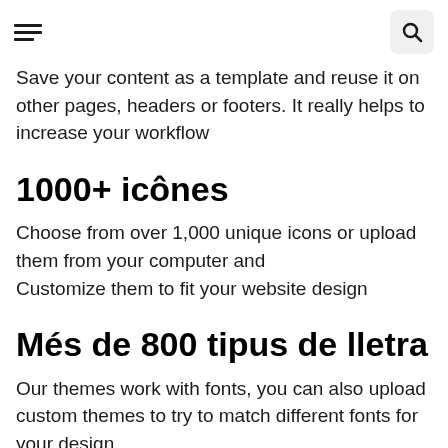[hamburger menu icon] [search icon]
Save your content as a template and reuse it on other pages, headers or footers. It really helps to increase your workflow
1000+ icônes
Choose from over 1,000 unique icons or upload them from your computer and
Customize them to fit your website design
Més de 800 tipus de lletra
Our themes work with fonts, you can also upload custom themes to try to match different fonts for your design